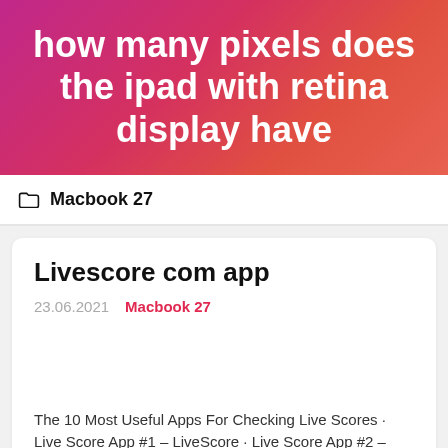how many pixels does the ipad with retina display have
Macbook 27
Livescore com app
23.06.2021   Macbook 27
The 10 Most Useful Apps For Checking Live Scores · Live Score App #1 – LiveScore · Live Score App #2 – FlashScore · Live Score App #3 – Futbol24 · Live Score App